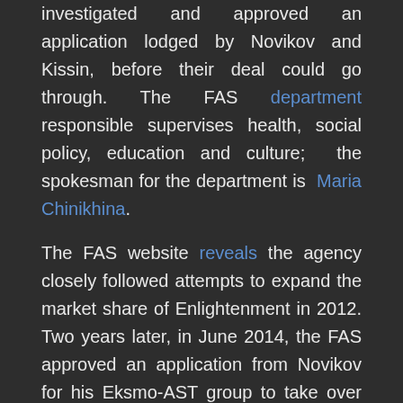investigated and approved an application lodged by Novikov and Kissin, before their deal could go through. The FAS department responsible supervises health, social policy, education and culture; the spokesman for the department is Maria Chinikhina.
The FAS website reveals the agency closely followed attempts to expand the market share of Enlightenment in 2012. Two years later, in June 2014, the FAS approved an application from Novikov for his Eksmo-AST group to take over Bustard, another publisher of school textbooks at the time. Then in March 2018, acting on the complaint of one of Novikov's publishing rivals for copyright and competition violations, the FAS concluded an investigation with a ruling against Eksmo-AST and a fine.
By contrast, there is no record that FAS has investigated Enlightenment as it expanded its market share between 2013 and 2017, when Rotenberg was officially in control. There is also no notice on the FAS website of an application, review, report or approval of the latest transaction. Chinikhina was asked to say if